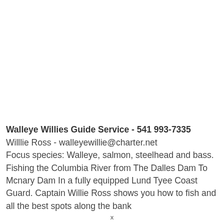Walleye Willies Guide Service - 541 993-7335
Willlie Ross - walleyewillie@charter.net
Focus species: Walleye, salmon, steelhead and bass. Fishing the Columbia River from The Dalles Dam To Mcnary Dam In a fully equipped Lund Tyee Coast Guard. Captain Willie Ross shows you how to fish and all the best spots along the banks...